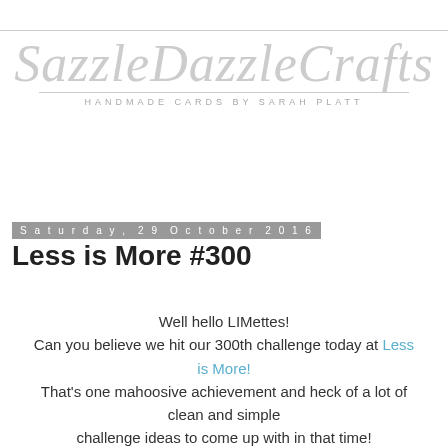[Figure (logo): SazzleDazzleCrafts logo in light grey italic script font with tagline 'HANDMADE CARDS BY SARAH PLATT' beneath a horizontal rule]
Saturday, 29 October 2016
Less is More #300
Well hello LIMettes!
Can you believe we hit our 300th challenge today at Less is More!
That's one mahoosive achievement and heck of a lot of clean and simple
challenge ideas to come up with in that time!